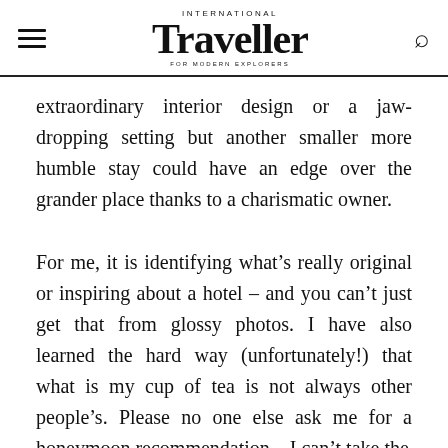International Traveller
extraordinary interior design or a jaw-dropping setting but another smaller more humble stay could have an edge over the grander place thanks to a charismatic owner.
For me, it is identifying what’s really original or inspiring about a hotel – and you can’t just get that from glossy photos. I have also learned the hard way (unfortunately!) that what is my cup of tea is not always other people’s. Please no one else ask me for a honeymoon recommendation – I can’t take the